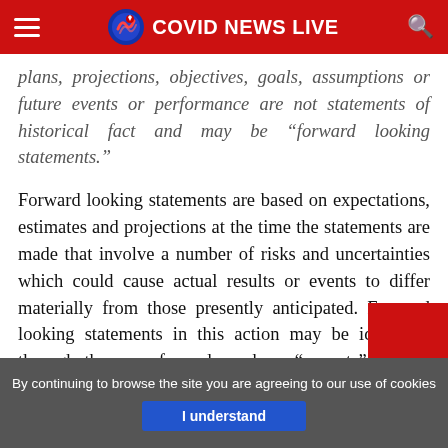COVID NEWS LIVE
plans, projections, objectives, goals, assumptions or future events or performance are not statements of historical fact and may be “forward looking statements.”
Forward looking statements are based on expectations, estimates and projections at the time the statements are made that involve a number of risks and uncertainties which could cause actual results or events to differ materially from those presently anticipated. Forward looking statements in this action may be identified through the use of words such as “expects”, “will,” “anticipates,” “estimates,” “believes,” or statements indicating certain actions “may,” “could,” or “might” occur…
By continuing to browse the site you are agreeing to our use of cookies | I understand